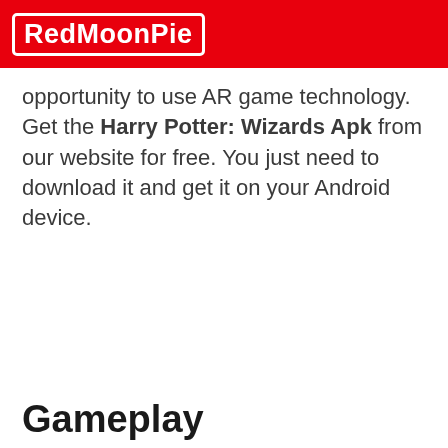RedMoonPie
opportunity to use AR game technology. Get the Harry Potter: Wizards Apk from our website for free. You just need to download it and get it on your Android device.
Gameplay